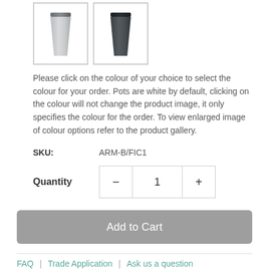[Figure (photo): Two thumbnail images of plant pots: one light grey/silver colored tall tapered pot on the left, and one dark charcoal/slate colored tall tapered pot on the right, both shown in bordered thumbnail boxes.]
Please click on the colour of your choice to select the colour for your order. Pots are white by default, clicking on the colour will not change the product image, it only specifies the colour for the order. To view enlarged image of colour options refer to the product gallery.
SKU:    ARM-B/FIC1
Quantity  −  1  +
Add to Cart
FAQ  |  Trade Application  |  Ask us a question